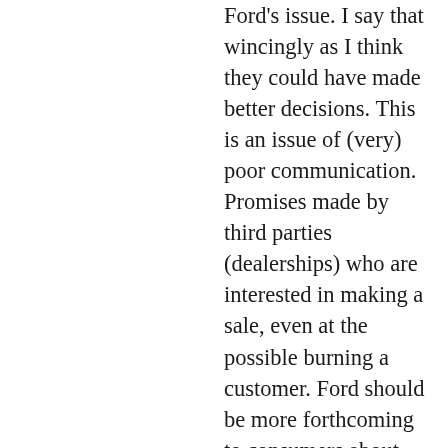Ford's issue. I say that wincingly as I think they could have made better decisions. This is an issue of (very) poor communication. Promises made by third parties (dealerships) who are interested in making a sale, even at the possible burning a customer. Ford should be more forthcoming to consumers about what it's real intentions are, but they are forced into protective silence because local laws and ordinances force them to work through third party dealerships. Notice that large companies like Apple and